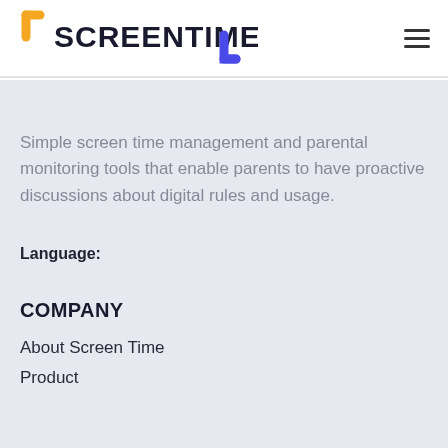[Figure (logo): ScreenTime logo with yellow bracket top-left and blue bracket bottom-right, bold black SCREENTIME text]
Simple screen time management and parental monitoring tools that enable parents to have proactive discussions about digital rules and usage.
Language:
COMPANY
About Screen Time
Product